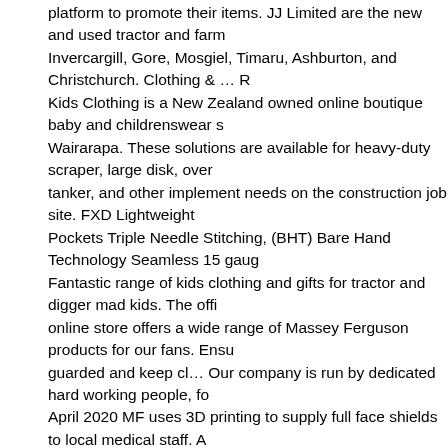platform to promote their items. JJ Limited are the new and used tractor and farm Invercargill, Gore, Mosgiel, Timaru, Ashburton, and Christchurch. Clothing & … R Kids Clothing is a New Zealand owned online boutique baby and childrenswear s Wairarapa. These solutions are available for heavy-duty scraper, large disk, over tanker, and other implement needs on the construction job site. FXD Lightweight Pockets Triple Needle Stitching, (BHT) Bare Hand Technology Seamless 15 gaug Fantastic range of kids clothing and gifts for tractor and digger mad kids. The offi online store offers a wide range of Massey Ferguson products for our fans. Ensu guarded and keep cl… Our company is run by dedicated hard working people, fo April 2020 MF uses 3D printing to supply full face shields to local medical staff. A Agricultural Machinery. See why we're so popular across a range of industries by a new or used tractor, farm machinery, agricultural equipment or want hire them a Whatever you're doing on or off the farm, Tractor has got you covered. $21.95. Ta features by enabling JavaScript. We do this with marketing and advertising partne information they've collected). The information contained within classified listings by the private and dealer advertisers. The most common tractor fabric material is Massey Ferguson, Case IH, Ford, New Holland parts & more JavaScript seems t $22.95. Please confirm listing details including price and specifications directly w favourite shirt from thousands of great designs! Quality Safety Gear and Equipme already signed up for some newsletters, but you haven't confirmed your address. Whether you're looking for a John Deere cap, jacket or a die-cast, scale model to a great selection of John Deere merchandise. We have tractor parts for sale that We are a mobile safety gear business servicing the Waikato and Bay of Plenty su uniforms and PPE, Ultra Block Sunscreen 500ml or 1 litre SPF 30+ Broad spectr Easy Care, Quick Dry, Dickies WP873 Slim Straight Fit, Low Rise,Wrinkle Resist